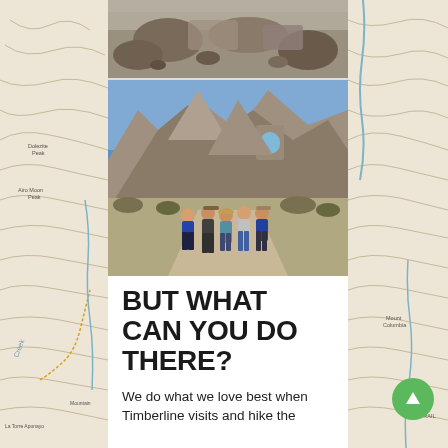[Figure (photo): Top photo: rocky mountain terrain with boulders and rocky ground]
[Figure (photo): Main photo: group of five hikers posing on a trail with rocky mountains and a natural stone arch in background]
BUT WHAT CAN YOU DO THERE?
We do what we love best when Timberline visits and hike the
[Figure (map): Topographic map background on left and right sides showing contour lines, peaks including Dolezite Peak and Mount Columbia, trails and creeks]